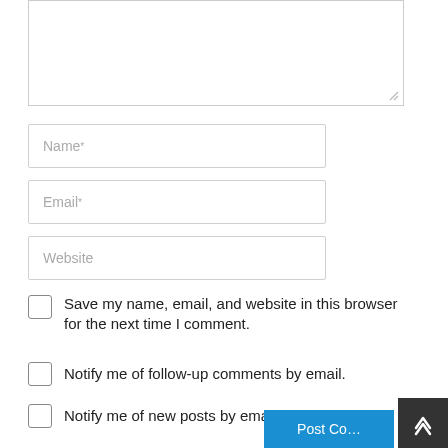[Figure (screenshot): Textarea form field (comment box) with resize handle at bottom right]
Name*
Email*
Website
Save my name, email, and website in this browser for the next time I comment.
Notify me of follow-up comments by email.
Notify me of new posts by email.